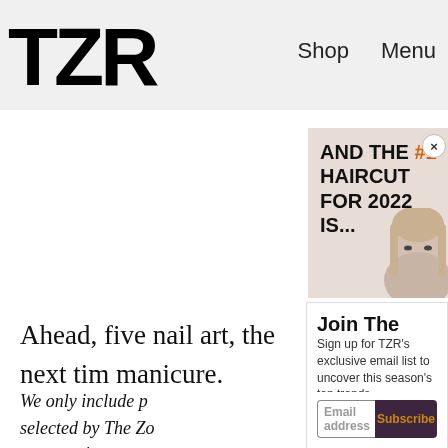TZR   Shop   Menu
Ahead, five nail art, the next tim manicure.
[Figure (infographic): Advertisement banner with text 'AND THE #1 HAIRCUT FOR 2022 IS...' with #1 in orange, and a partial image of a blonde woman's face on the right side. Has a close (x) button in top right corner.]
Join The List
Sign up for TZR's exclusive email list to uncover this season's top trends
Email address
Subscribe
We only include p selected by The Zo may receive a po